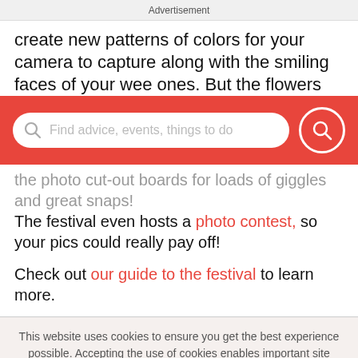Advertisement
create new patterns of colors for your camera to capture along with the smiling faces of your wee ones. But the flowers
[Figure (screenshot): Red search bar overlay with white search input box containing placeholder text 'Find advice, events, things to do' and a red circular search button with magnifying glass icon]
the photo cut-out boards for loads of giggles and great snaps! The festival even hosts a photo contest, so your pics could really pay off!
Check out our guide to the festival to learn more.
This website uses cookies to ensure you get the best experience possible. Accepting the use of cookies enables important site functionality including personalization and analytics.
Accept
Decline